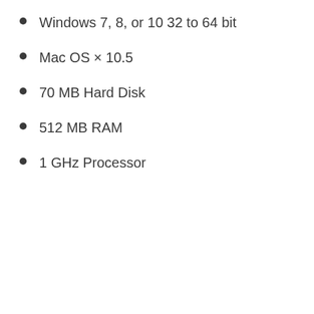Windows 7, 8, or 10 32 to 64 bit
Mac OS × 10.5
70 MB Hard Disk
512 MB RAM
1 GHz Processor